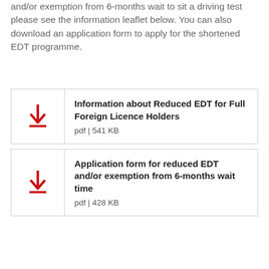and/or exemption from 6-months wait to sit a driving test please see the information leaflet below. You can also download an application form to apply for the shortened EDT programme.
Information about Reduced EDT for Full Foreign Licence Holders
pdf | 541 KB
Application form for reduced EDT and/or exemption from 6-months wait time
pdf | 428 KB